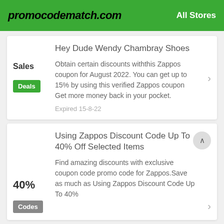promocodematch.com   All Stores
Hey Dude Wendy Chambray Shoes
Obtain certain discounts withthis Zappos coupon for August 2022. You can get up to 15% by using this verified Zappos coupon Get more money back in your pocket.
Expired 15-8-22
Using Zappos Discount Code Up To 40% Off Selected Items
Find amazing discounts with exclusive coupon code promo code for Zappos.Save as much as Using Zappos Discount Code Up To 40%